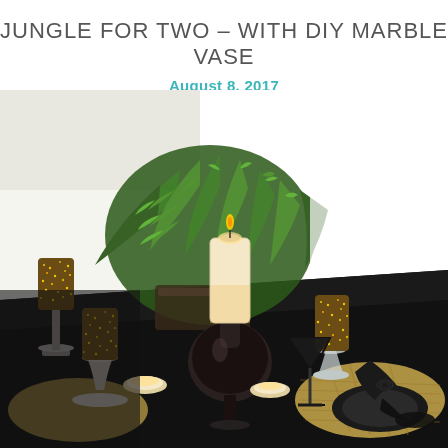JUNGLE FOR TWO – WITH DIY MARBLE VASE
August 8, 2017
[Figure (photo): A styled tablescape for two featuring a black tablecloth with candles on silver and glass candlesticks, glitter-wrapped candle holders, a large cream pillar candle on a dark bulbous vase, a lush green fern plant in the background, a black martini glass, woven placemats, black napkins with beaded napkin rings, and black plates. The scene is lit brightly against a white wall.]